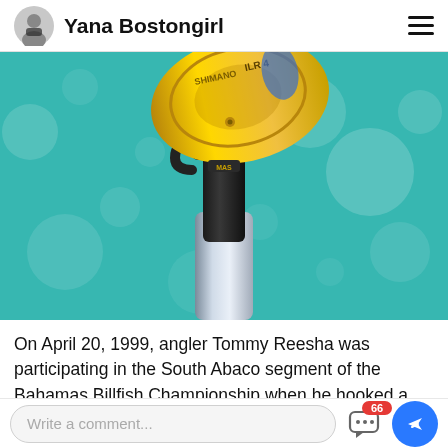Yana Bostongirl
[Figure (photo): Close-up photo of a gold fishing reel and black rod holder against a teal bokeh water background]
On April 20, 1999, angler Tommy Reesha was participating in the South Abaco segment of the Bahamas Billfish Championship when he hooked a...